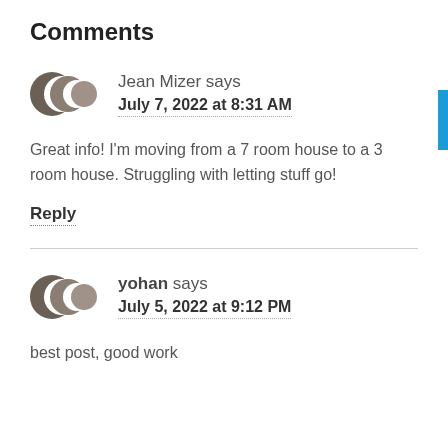Comments
Jean Mizer says
July 7, 2022 at 8:31 AM
Great info! I'm moving from a 7 room house to a 3 room house. Struggling with letting stuff go!
Reply
yohan says
July 5, 2022 at 9:12 PM
best post, good work